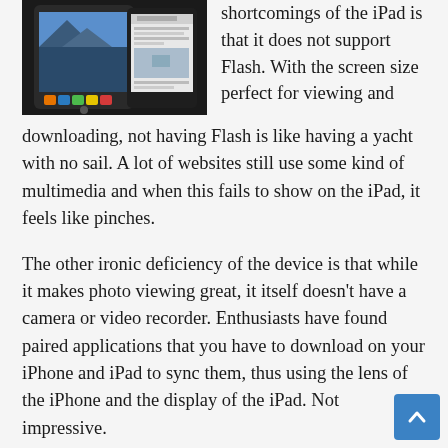[Figure (photo): Two Apple iPad devices shown side by side, one displaying a home screen with app icons and another displaying The New York Times website.]
shortcomings of the iPad is that it does not support Flash. With the screen size perfect for viewing and downloading, not having Flash is like having a yacht with no sail. A lot of websites still use some kind of multimedia and when this fails to show on the iPad, it feels like pinches.
The other ironic deficiency of the device is that while it makes photo viewing great, it itself doesn't have a camera or video recorder. Enthusiasts have found paired applications that you have to download on your iPhone and iPad to sync them, thus using the lens of the iPhone and the display of the iPad. Not impressive.